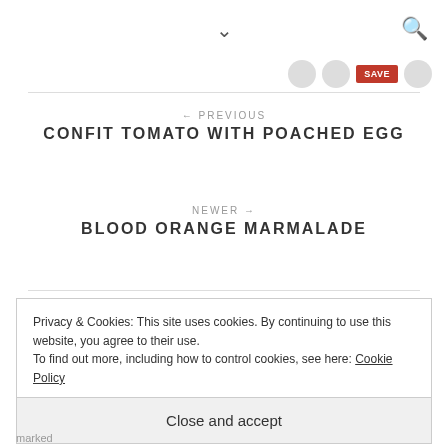∨  🔍
[Figure (screenshot): Social sharing icons row: Facebook circle, Pinterest circle, red Save button, circle icon]
← PREVIOUS
CONFIT TOMATO WITH POACHED EGG
NEWER →
BLOOD ORANGE MARMALADE
Privacy & Cookies: This site uses cookies. By continuing to use this website, you agree to their use.
To find out more, including how to control cookies, see here: Cookie Policy
Close and accept
marked